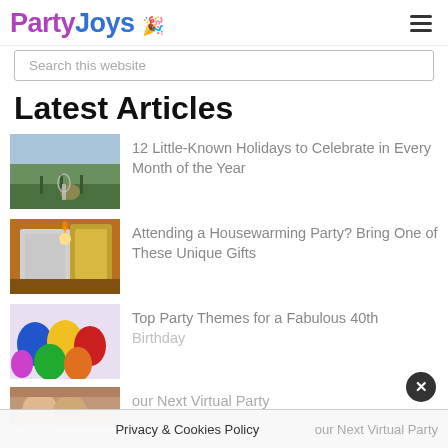[Figure (logo): PartyJoys logo with colorful text and party hat/fireworks icon]
Search this website
Latest Articles
[Figure (photo): Vineyard with wine glass in foreground]
12 Little-Known Holidays to Celebrate in Every Month of the Year
[Figure (photo): Candle and gift box]
Attending a Housewarming Party? Bring One of These Unique Gifts
[Figure (photo): Colorful balloons]
Top Party Themes for a Fabulous 40th Birthday
[Figure (photo): People at virtual party (partially visible)]
our Next Virtual Party
Privacy & Cookies Policy